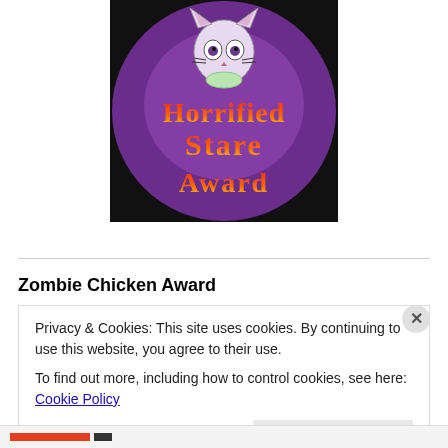[Figure (illustration): Horrified Stare Award graphic: dark purple/black circular background with a cartoon frightened cat at the top, and orange-to-yellow gradient text reading 'Horrified Stare Award']
Zombie Chicken Award
Privacy & Cookies: This site uses cookies. By continuing to use this website, you agree to their use.
To find out more, including how to control cookies, see here: Cookie Policy